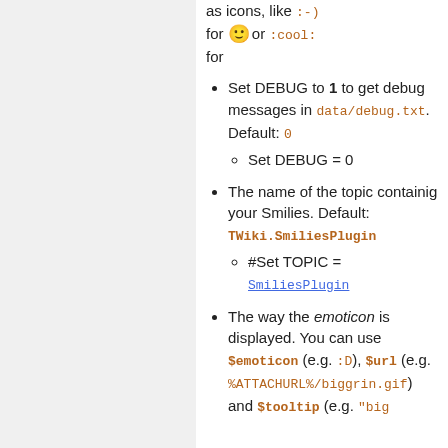as icons, like :-) for 🙂 or :cool: for
Set DEBUG to 1 to get debug messages in data/debug.txt. Default: 0
  Sub: Set DEBUG = 0
The name of the topic containig your Smilies. Default: TWiki.SmiliesPlugin
  Sub: #Set TOPIC = SmiliesPlugin
The way the emoticon is displayed. You can use $emoticon (e.g. :D), $url (e.g. %ATTACHURL%/biggrin.gif) and $tooltip (e.g. "big